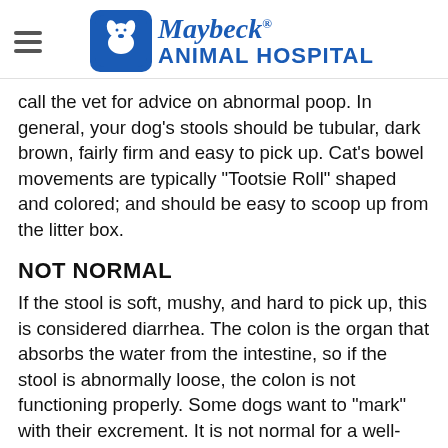Maybeck Animal Hospital
call the vet for advice on abnormal poop. In general, your dog's stools should be tubular, dark brown, fairly firm and easy to pick up. Cat's bowel movements are typically "Tootsie Roll" shaped and colored; and should be easy to scoop up from the litter box.
NOT NORMAL
If the stool is soft, mushy, and hard to pick up, this is considered diarrhea. The colon is the organ that absorbs the water from the intestine, so if the stool is abnormally loose, the colon is not functioning properly. Some dogs want to "mark" with their excrement. It is not normal for a well-trained dog to have accidents in the house.